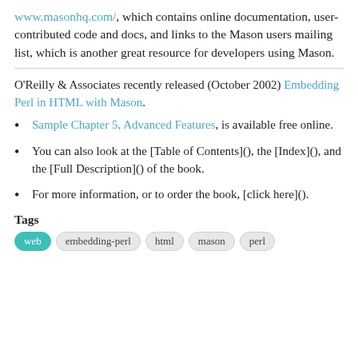www.masonhq.com/, which contains online documentation, user-contributed code and docs, and links to the Mason users mailing list, which is another great resource for developers using Mason.
O'Reilly & Associates recently released (October 2002) Embedding Perl in HTML with Mason.
Sample Chapter 5, Advanced Features, is available free online.
You can also look at the [Table of Contents](), the [Index](), and the [Full Description]() of the book.
For more information, or to order the book, [click here]().
Tags
web  embedding-perl  html  mason  perl